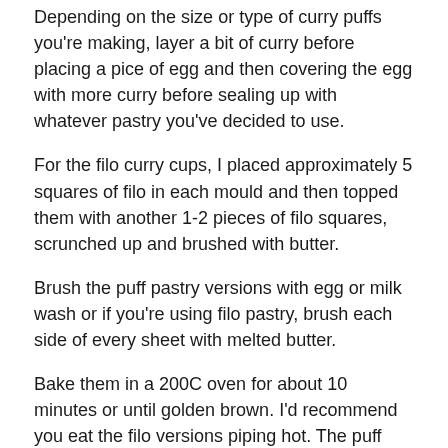Depending on the size or type of curry puffs you're making, layer a bit of curry before placing a pice of egg and then covering the egg with more curry before sealing up with whatever pastry you've decided to use.
For the filo curry cups, I placed approximately 5 squares of filo in each mould and then topped them with another 1-2 pieces of filo squares, scrunched up and brushed with butter.
Brush the puff pastry versions with egg or milk wash or if you're using filo pastry, brush each side of every sheet with melted butter.
Bake them in a 200C oven for about 10 minutes or until golden brown. I'd recommend you eat the filo versions piping hot. The puff pastry versions can be eaten cold and also frozen.